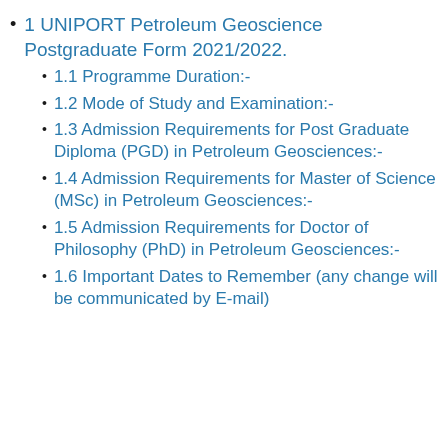1 UNIPORT Petroleum Geoscience Postgraduate Form 2021/2022.
1.1 Programme Duration:-
1.2 Mode of Study and Examination:-
1.3 Admission Requirements for Post Graduate Diploma (PGD) in Petroleum Geosciences:-
1.4 Admission Requirements for Master of Science (MSc) in Petroleum Geosciences:-
1.5 Admission Requirements for Doctor of Philosophy (PhD) in Petroleum Geosciences:-
1.6 Important Dates to Remember (any change will be communicated by E-mail)